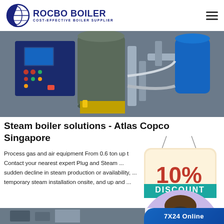[Figure (logo): Rocbo Boiler logo with crescent/circle icon and text 'ROCBO BOILER - COST-EFFECTIVE BOILER SUPPLIER']
[Figure (photo): Industrial boiler equipment with blue control panel and piping system]
Steam boiler solutions - Atlas Copco Singapore
[Figure (illustration): 10% DISCOUNT badge in red and teal/cream colors, hanging sign style]
Process gas and air equipment From 0.6 ton up t... Contact your nearest expert Plug and Steam ... sudden decline in steam production or availability, ... temporary steam installation onsite, and up and ...
[Figure (photo): Customer service representative woman with headset in circular frame]
Get Price
[Figure (photo): Bottom strip showing partial industrial image and '7X24 Online' badge]